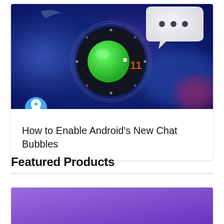[Figure (photo): Android 11 chat bubbles feature image: dark blue bokeh background with a circular Android watch face showing green circle and number 11 badge, and a white speech bubble with three dots (typing indicator)]
How to Enable Android’s New Chat Bubbles
Featured Products
[Figure (photo): Purple/violet gradient rectangle — bottom portion of a featured product card]